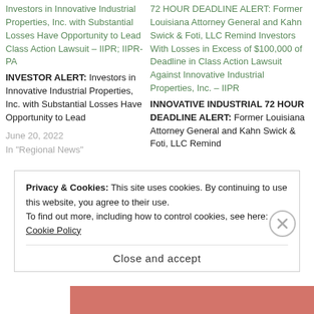Investors in Innovative Industrial Properties, Inc. with Substantial Losses Have Opportunity to Lead Class Action Lawsuit – IIPR; IIPR-PA
INVESTOR ALERT: Investors in Innovative Industrial Properties, Inc. with Substantial Losses Have Opportunity to Lead
June 20, 2022
In "Regional News"
72 HOUR DEADLINE ALERT: Former Louisiana Attorney General and Kahn Swick & Foti, LLC Remind Investors With Losses in Excess of $100,000 of Deadline in Class Action Lawsuit Against Innovative Industrial Properties, Inc. – IIPR
INNOVATIVE INDUSTRIAL 72 HOUR DEADLINE ALERT: Former Louisiana Attorney General and Kahn Swick & Foti, LLC Remind
Privacy & Cookies: This site uses cookies. By continuing to use this website, you agree to their use.
To find out more, including how to control cookies, see here: Cookie Policy
Close and accept